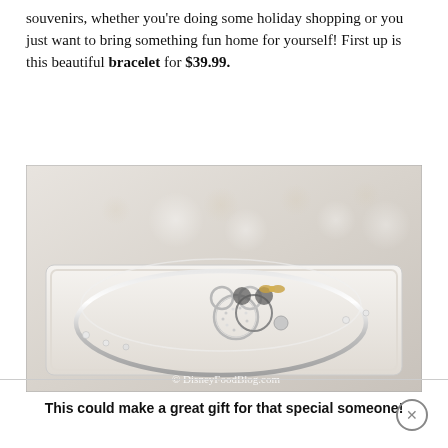souvenirs, whether you're doing some holiday shopping or you just want to bring something fun home for yourself! First up is this beautiful bracelet for $39.99.
[Figure (photo): A silver Mickey Mouse charm bangle bracelet displayed in a white jewelry box, with a watermark reading © DisneyFoodBlog.com]
This could make a great gift for that special someone!